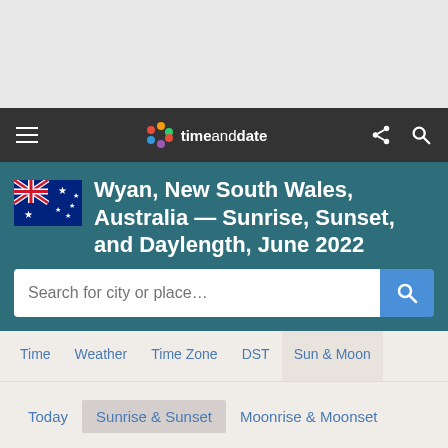timeanddate — navigation bar
Wyan, New South Wales, Australia — Sunrise, Sunset, and Daylength, June 2022
Search for city or place…
Time
Weather
Time Zone
DST
Sun & Moon
Today
Sunrise & Sunset
Moonrise & Moonset
Moon Phases
Eclipses
Night Sky